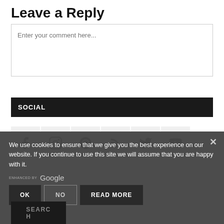Leave a Reply
Enter your comment here...
SOCIAL
[Figure (illustration): Six social media icon buttons in light grey square boxes: Facebook, Instagram, Pinterest, RSS feed, Twitter, YouTube]
We use cookies to ensure that we give you the best experience on our website. If you continue to use this site we will assume that you are happy with it.
ENHANCED BY Google
OK  NO  READ MORE